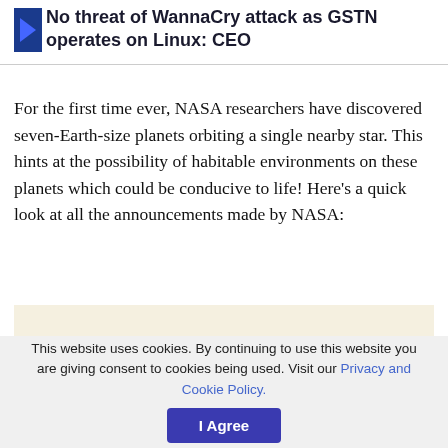No threat of WannaCry attack as GSTN operates on Linux: CEO
For the first time ever, NASA researchers have discovered seven-Earth-size planets orbiting a single nearby star. This hints at the possibility of habitable environments on these planets which could be conducive to life! Here's a quick look at all the announcements made by NASA:
[Figure (other): Advertisement placeholder box with light beige/cream background]
This website uses cookies. By continuing to use this website you are giving consent to cookies being used. Visit our Privacy and Cookie Policy.   I Agree